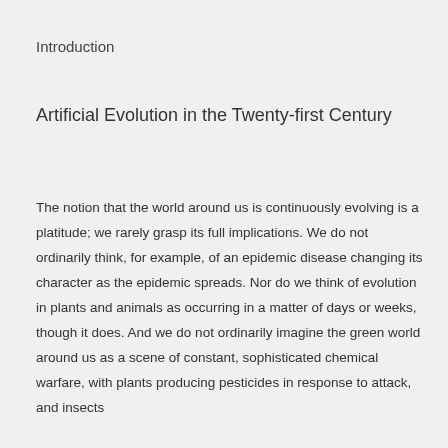Introduction
Artificial Evolution in the Twenty-first Century
The notion that the world around us is continuously evolving is a platitude; we rarely grasp its full implications. We do not ordinarily think, for example, of an epidemic disease changing its character as the epidemic spreads. Nor do we think of evolution in plants and animals as occurring in a matter of days or weeks, though it does. And we do not ordinarily imagine the green world around us as a scene of constant, sophisticated chemical warfare, with plants producing pesticides in response to attack, and insects